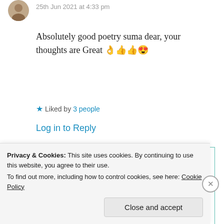25th Jun 2021 at 4:33 pm
Absolutely good poetry suma dear, your thoughts are Great 👌👍👍😍
★ Liked by 3 people
Log in to Reply
[Figure (photo): Avatar photo of Suma Reddy]
Suma Reddy
Privacy & Cookies: This site uses cookies. By continuing to use this website, you agree to their use. To find out more, including how to control cookies, see here: Cookie Policy
Close and accept